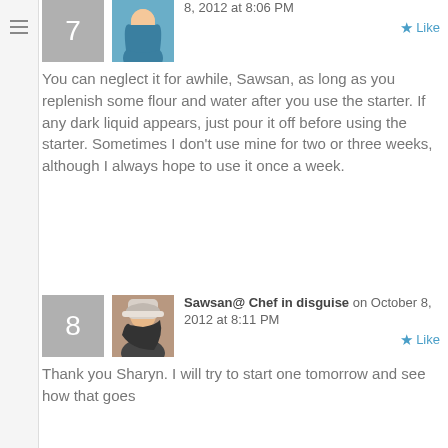8, 2012 at 8:06 PM
You can neglect it for awhile, Sawsan, as long as you replenish some flour and water after you use the starter. If any dark liquid appears, just pour it off before using the starter. Sometimes I don't use mine for two or three weeks, although I always hope to use it once a week.
Sawsan@ Chef in disguise on October 8, 2012 at 8:11 PM
Thank you Sharyn. I will try to start one tomorrow and see how that goes